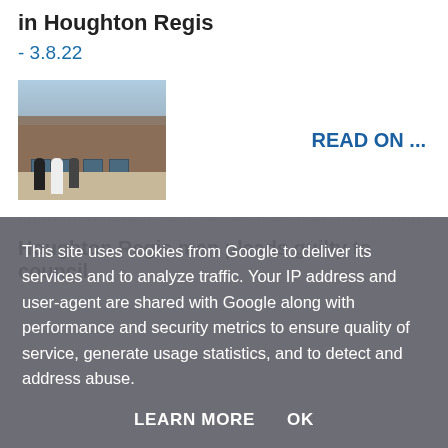in Houghton Regis
- 3.8.22
[Figure (photo): Exterior photo of a brick building with people standing in a car park or pavement area]
READ ON ...
Houghton Regis man pleads guilty to council
This site uses cookies from Google to deliver its services and to analyze traffic. Your IP address and user-agent are shared with Google along with performance and security metrics to ensure quality of service, generate usage statistics, and to detect and address abuse.
LEARN MORE    OK